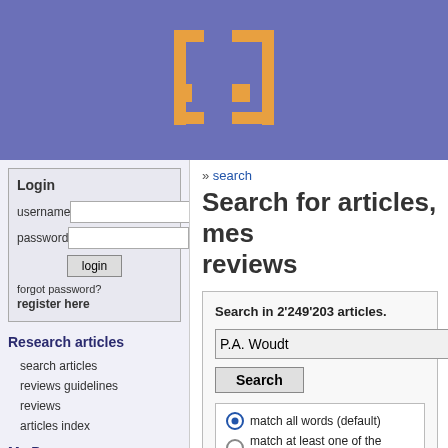[Figure (logo): Website logo — orange pixel/bracket icon on purple/blue header background]
Login
username
password
forgot password?
register here
Research articles
search articles
reviews guidelines
reviews
articles index
My Pages
my alerts
my messages
my reviews
my favorites
» search
Search for articles, mes reviews
Search in 2'249'203 articles.
P.A. Woudt
match all words (default)
match at least one of the words
match the exact phrase
Results 1 to 20 of 103 for query "P.A. Woudt". (0.00
[ 1 2 3 4 5 6 ] Next ▷
1